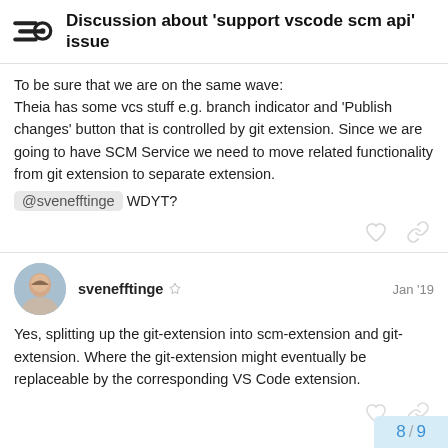Discussion about 'support vscode scm api' issue
To be sure that we are on the same wave:
Theia has some vcs stuff e.g. branch indicator and 'Publish changes' button that is controlled by git extension. Since we are going to have SCM Service we need to move related functionality from git extension to separate extension.
@svenefftinge WDYT?
svenefftinge  Jan '19
Yes, splitting up the git-extension into scm-extension and git-extension. Where the git-extension might eventually be replaceable by the corresponding VS Code extension.
8 / 9